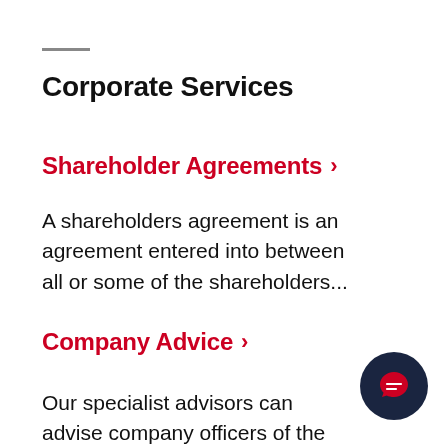Corporate Services
Shareholder Agreements >
A shareholders agreement is an agreement entered into between all or some of the shareholders...
Company Advice >
Our specialist advisors can advise company officers of the precise formalities involved in the day-to-day...
[Figure (illustration): Dark navy circular chat/message button icon in bottom-right corner]